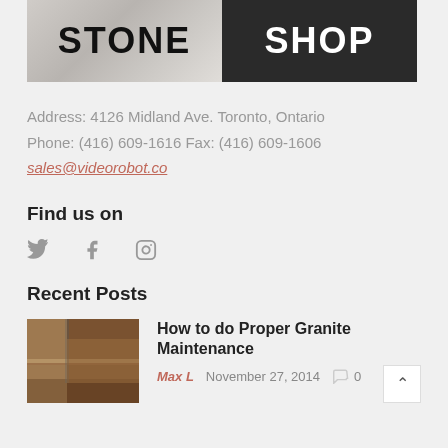[Figure (logo): Stone Shop logo with two panels: left panel shows 'STONE' text on marble/stone background, right panel shows 'SHOP' text on dark granite background]
Address: 4126 Midland Ave. Toronto, Ontario
Phone: (416) 609-1616 Fax: (416) 609-1606
sales@videorobot.co
Find us on
[Figure (illustration): Social media icons: Twitter bird, Facebook f, Instagram camera]
Recent Posts
[Figure (photo): Thumbnail photo of a granite kitchen countertop with cabinets]
How to do Proper Granite Maintenance
Max L    November 27, 2014    0